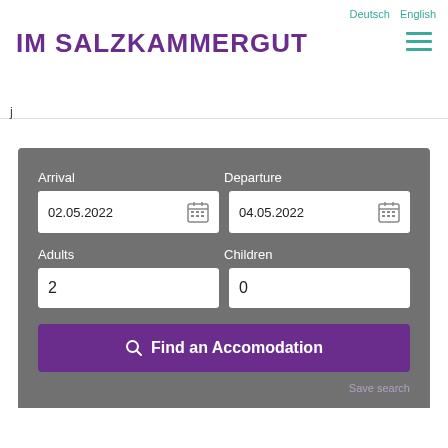IM SALZKAMMERGUT
Deutsch  English
j
[Figure (screenshot): Accommodation search form with Arrival (02.05.2022), Departure (04.05.2022), Adults (2), Children (0) fields and a Find an Accomodation button]
Save search